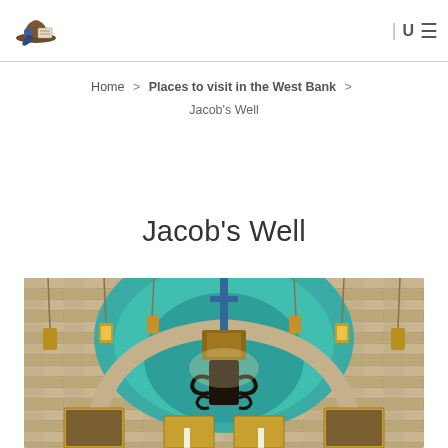[Figure (logo): Travel blog logo with hat and figure icon]
Home > Places to visit in the West Bank > Jacob's Well
Jacob's Well
[Figure (photo): Interior of Jacob's Well church showing ornate arch, hanging lanterns, teal mosaic decorations, wrought iron stand, and religious icons]